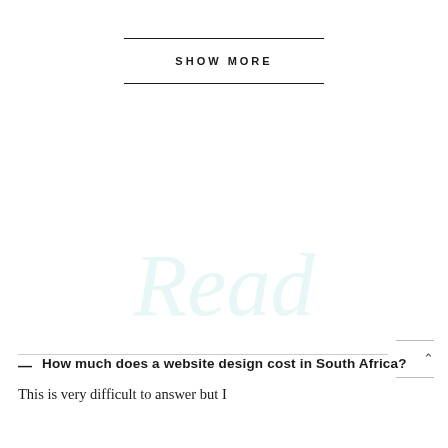SHOW MORE
[Figure (illustration): Light blue watermark-style cursive 'Read' text with decorative script lettering]
How much does a website design cost in South Africa?
This is very difficult to answer but I